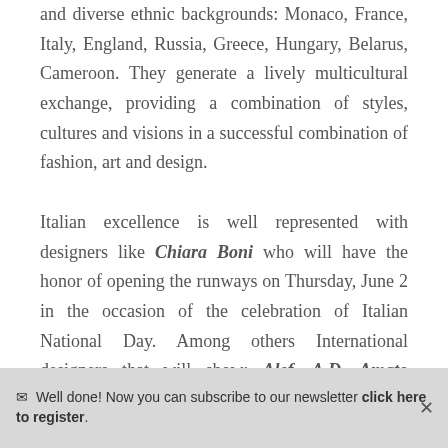and diverse ethnic backgrounds: Monaco, France, Italy, England, Russia, Greece, Hungary, Belarus, Cameroon. They generate a lively multicultural exchange, providing a combination of styles, cultures and visions in a successful combination of fashion, art and design.

Italian excellence is well represented with designers like Chiara Boni who will have the honor of opening the runways on Thursday, June 2 in the occasion of the celebration of Italian National Day. Among others International designers that will show: Alef, A.D. Amato Danieli, Annalisa Queen, Anna
✉ Well done! Now you can subscribe to our newsletter click here to register.